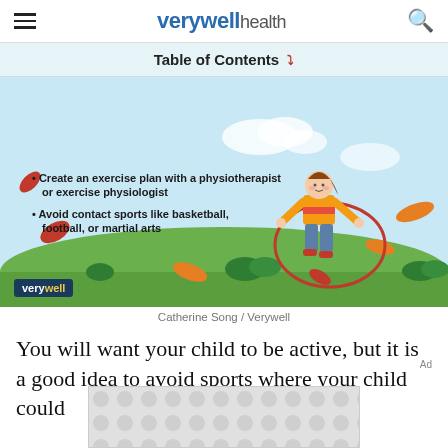verywell health
Table of Contents
[Figure (illustration): Illustration of a girl jumping rope outdoors on a green lawn with autumn leaves, with bullet points: 'Create an exercise plan with a physiotherapist or exercise physiologist' and 'Avoid contact sports like basketball, football, or martial arts'. Verywell logo in bottom-left corner.]
Catherine Song / Verywell
You will want your child to be active, but it is a good idea to avoid sports where your child could
[Figure (other): Advertisement placeholder with dot pattern]